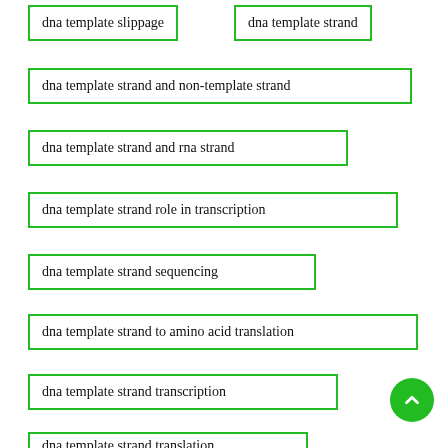dna template slippage
dna template strand
dna template strand and non-template strand
dna template strand and rna strand
dna template strand role in transcription
dna template strand sequencing
dna template strand to amino acid translation
dna template strand transcription
dna template strand translation
equipments cleary
equipments data